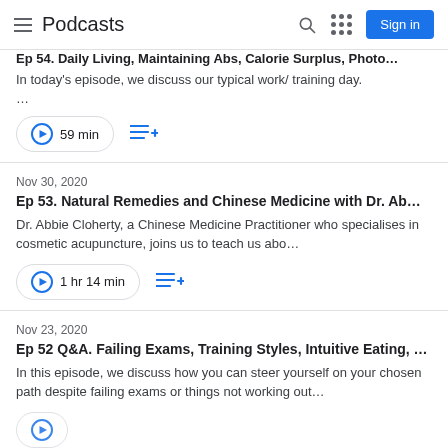Podcasts | Sign in
Ep 54. Daily Living, Maintaining Abs, Calorie Surplus, Photo...
In today's episode, we discuss our typical work/ training day.
...
59 min
Nov 30, 2020
Ep 53. Natural Remedies and Chinese Medicine with Dr. Ab...
Dr. Abbie Cloherty, a Chinese Medicine Practitioner who specialises in cosmetic acupuncture, joins us to teach us abo...
1 hr 14 min
Nov 23, 2020
Ep 52 Q&A. Failing Exams, Training Styles, Intuitive Eating, ...
In this episode, we discuss how you can steer yourself on your chosen path despite failing exams or things not working out...